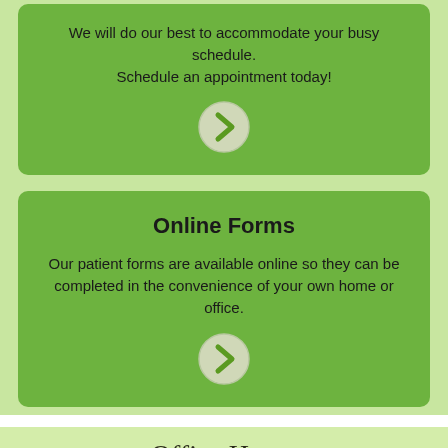We will do our best to accommodate your busy schedule. Schedule an appointment today!
[Figure (illustration): Green circle button with a right-pointing chevron arrow]
Online Forms
Our patient forms are available online so they can be completed in the convenience of your own home or office.
[Figure (illustration): Green circle button with a right-pointing chevron arrow]
Office Hours
Temporary hours due to Covid-19
| Day | Morning Hours | Afternoon Hours |
| --- | --- | --- |
| Monday: | 9:00 am-1:00 pm | 3:00 pm-7:00 pm |